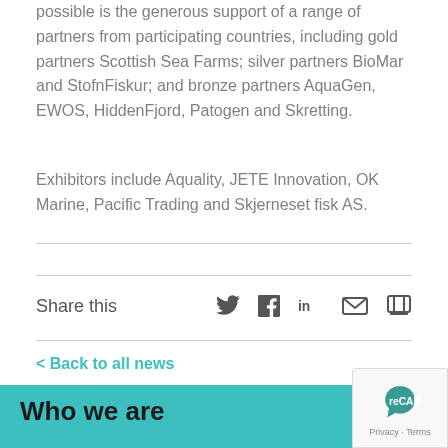possible is the generous support of a range of partners from participating countries, including gold partners Scottish Sea Farms; silver partners BioMar and StofnFiskur; and bronze partners AquaGen, EWOS, HiddenFjord, Patogen and Skretting.
Exhibitors include Aquality, JETE Innovation, OK Marine, Pacific Trading and Skjerneset fisk AS.
Share this
< Back to all news
Who we are